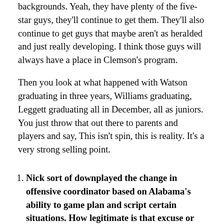backgrounds. Yeah, they have plenty of the five-star guys, they'll continue to get them. They'll also continue to get guys that maybe aren't as heralded and just really developing. I think those guys will always have a place in Clemson's program.
Then you look at what happened with Watson graduating in three years, Williams graduating, Leggett graduating all in December, all as juniors. You just throw that out there to parents and players and say, This isn't spin, this is reality. It's a very strong selling point.
Nick sort of downplayed the change in offensive coordinator based on Alabama's ability to game plan and script certain situations. How legitimate is that excuse or defense? As an offense, how do you